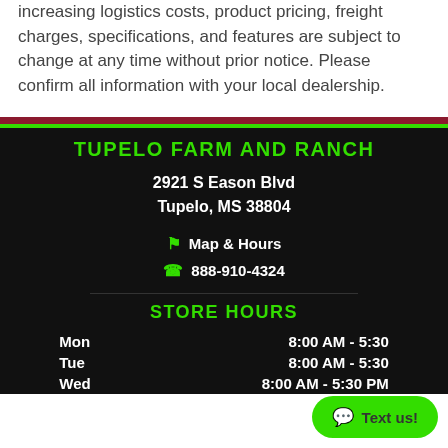increasing logistics costs, product pricing, freight charges, specifications, and features are subject to change at any time without prior notice. Please confirm all information with your local dealership.
TUPELO FARM AND RANCH
2921 S Eason Blvd
Tupelo, MS 38804
Map & Hours
888-910-4324
STORE HOURS
| Day | Hours |
| --- | --- |
| Mon | 8:00 AM - 5:30 |
| Tue | 8:00 AM - 5:30 |
| Wed | 8:00 AM - 5:30 PM |